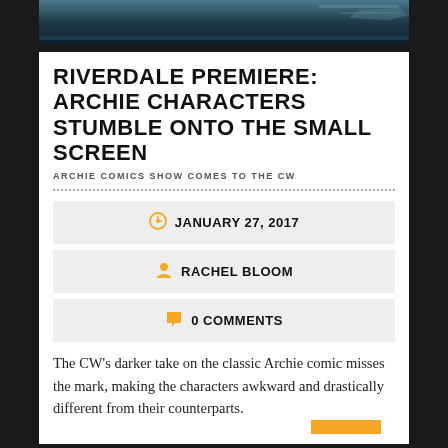[Figure (photo): Hero image at top showing a dark blue scene, appears to be a nighttime or underwater setting]
RIVERDALE PREMIERE: ARCHIE CHARACTERS STUMBLE ONTO THE SMALL SCREEN
ARCHIE COMICS SHOW COMES TO THE CW
JANUARY 27, 2017
RACHEL BLOOM
0 COMMENTS
The CW's darker take on the classic Archie comic misses the mark, making the characters awkward and drastically different from their counterparts.